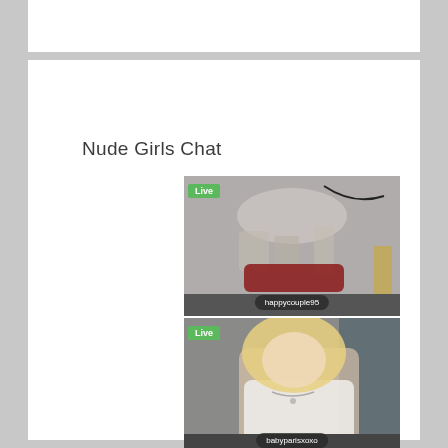Nude Girls Chat
[Figure (screenshot): Live webcam thumbnail showing a room interior with decorative items, labeled 'happycouple95' with a green Live badge]
[Figure (screenshot): Live webcam thumbnail showing a blonde woman in a white top in a car, labeled 'babyparisxoxo' with a green Live badge]
Your Account >>